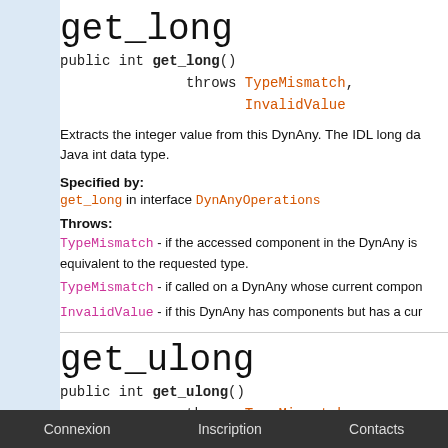get_long
public int get_long()
            throws TypeMismatch,
                   InvalidValue
Extracts the integer value from this DynAny. The IDL long da Java int data type.
Specified by:
get_long in interface DynAnyOperations
Throws:
TypeMismatch - if the accessed component in the DynAny is equivalent to the requested type.
TypeMismatch - if called on a DynAny whose current compon
InvalidValue - if this DynAny has components but has a cur
get_ulong
public int get_ulong()
            throws TypeMismatch,
                   InvalidValue
Connexion  Inscription  Contacts